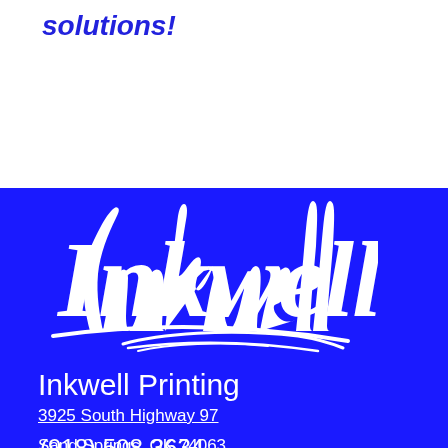solutions!
[Figure (logo): Inkwell script logo in white on blue background]
Inkwell Printing
3925 South Highway 97
Sand Springs, OK 74063
(918) 508-3634